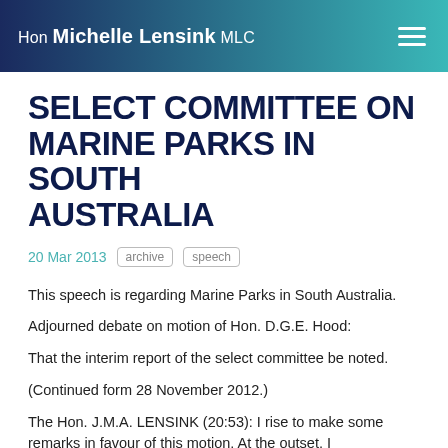Hon Michelle Lensink MLC
SELECT COMMITTEE ON MARINE PARKS IN SOUTH AUSTRALIA
20 Mar 2013   archive   speech
This speech is regarding Marine Parks in South Australia.
Adjourned debate on motion of Hon. D.G.E. Hood:
That the interim report of the select committee be noted.
(Continued form 28 November 2012.)
The Hon. J.M.A. LENSINK (20:53): I rise to make some remarks in favour of this motion. At the outset, I